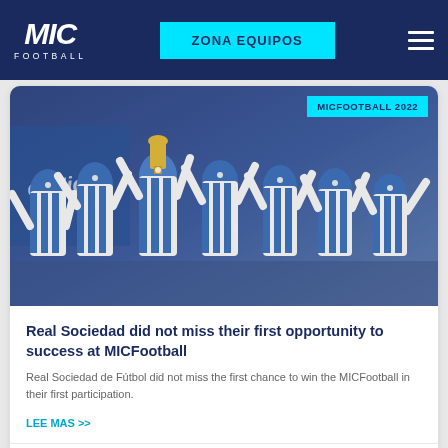MIC FOOTBALL | ZONA EQUIPOS
[Figure (photo): Youth football players in blue and white striped jerseys celebrating with a trophy, raising their arms in victory]
Real Sociedad did not miss their first opportunity to success at MICFootball
Real Sociedad de Fútbol did not miss the first chance to win the MICFootball in their first participation.
LEE MAS >>
April 20, 2022